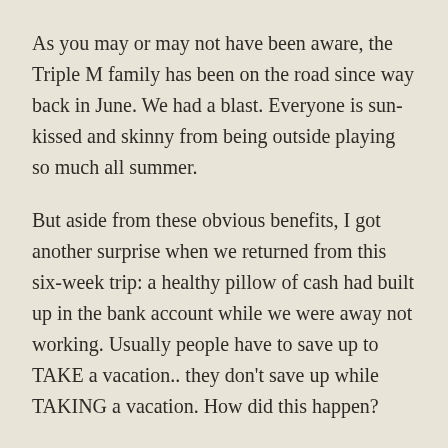As you may or may not have been aware, the Triple M family has been on the road since way back in June. We had a blast. Everyone is sun-kissed and skinny from being outside playing so much all summer.
But aside from these obvious benefits, I got another surprise when we returned from this six-week trip: a healthy pillow of cash had built up in the bank account while we were away not working. Usually people have to save up to TAKE a vacation.. they don't save up while TAKING a vacation. How did this happen?
As it turns out, it was just the usual combination of thinking about things in a new way, to shift the balance of life away from spending and towards earning.
The first factor was renting out my own house. When you own a house and you go away on a long trip, you've got a